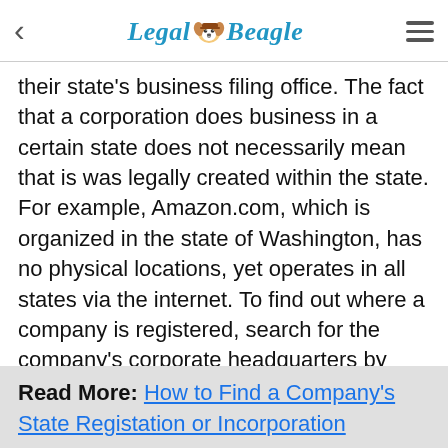Legal Beagle
their state's business filing office. The fact that a corporation does business in a certain state does not necessarily mean that is was legally created within the state. For example, Amazon.com, which is organized in the state of Washington, has no physical locations, yet operates in all states via the internet. To find out where a company is registered, search for the company's corporate headquarters by visiting the company's website or calling any branch or store associated with the company and asking.
Read More: How to Find a Company's State Registation or Incorporation